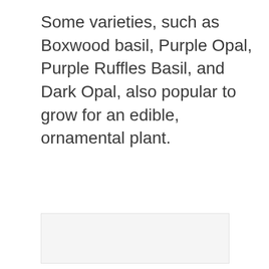Some varieties, such as Boxwood basil, Purple Opal, Purple Ruffles Basil, and Dark Opal, also popular to grow for an edible, ornamental plant.
[Figure (photo): Empty or blank image placeholder area below the text]